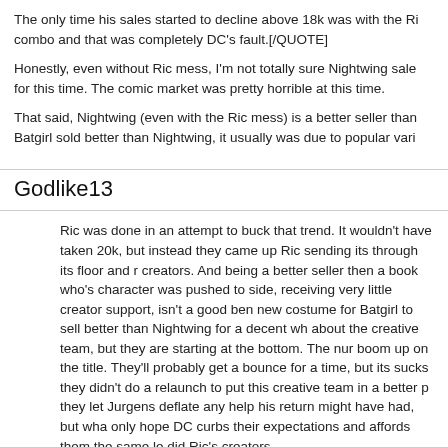The only time his sales started to decline above 18k was with the Ri combo and that was completely DC's fault.[/QUOTE]
Honestly, even without Ric mess, I'm not totally sure Nightwing sale for this time. The comic market was pretty horrible at this time.
That said, Nightwing (even with the Ric mess) is a better seller than Batgirl sold better than Nightwing, it usually was due to popular vari
Godlike13
Ric was done in an attempt to buck that trend. It wouldn't have taken 20k, but instead they came up Ric sending its through its floor and r creators. And being a better seller then a book who's character was pushed to side, receiving very little creator support, isn't a good ben new costume for Batgirl to sell better than Nightwing for a decent wh about the creative team, but they are starting at the bottom. The nur boom up on the title. They'll probably get a bounce for a time, but its sucks they didn't do a relaunch to put this creative team in a better p they let Jurgens deflate any help his return might have had, but wha only hope DC curbs their expectations and affords them the same le did Ric's creators.